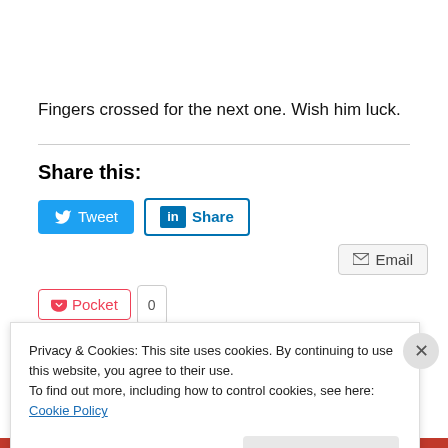Fingers crossed for the next one. Wish him luck.
Share this:
[Figure (screenshot): Social sharing buttons: Tweet (Twitter/blue), Share (LinkedIn/outlined), Email (grey outlined), Pocket with count 0]
Privacy & Cookies: This site uses cookies. By continuing to use this website, you agree to their use.
To find out more, including how to control cookies, see here: Cookie Policy
Close and accept